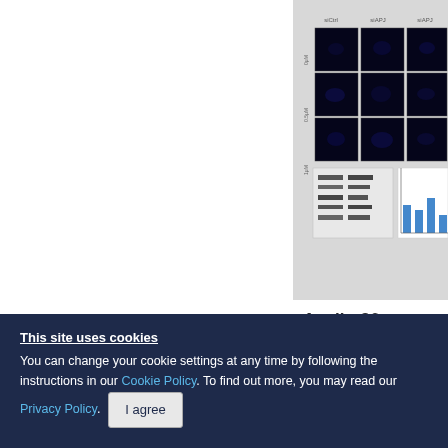[Figure (photo): Scientific figure panel showing fluorescence microscopy images (dark blue/black cells on black background arranged in a 3x3 grid) in the upper portion, and western blot bands with a bar chart below. The image is cropped at the right edge of the page.]
Apelin-36
To investi of protein results pr
This site uses cookies
You can change your cookie settings at any time by following the instructions in our Cookie Policy. To find out more, you may read our Privacy Policy. I agree